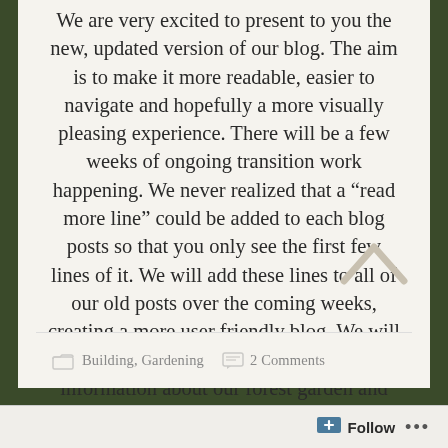We are very excited to present to you the new, updated version of our blog. The aim is to make it more readable, easier to navigate and hopefully a more visually pleasing experience. There will be a few weeks of ongoing transition work happening. We never realized that a “read more line” could be added to each blog posts so that you only see the first few lines of it. We will add these lines to all of our old posts over the coming weeks, creating a more user friendly blog. We will also slowly add pages filled with information about our forest garden and ecologically friendly building practices.
Read more →
Building, Gardening  2 Comments